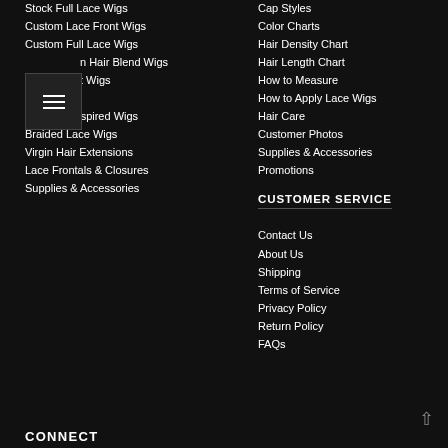Stock Full Lace Wigs
Custom Lace Front Wigs
Custom Full Lace Wigs
Human Hair Blend Wigs
Wigs
Celebrity Inspired Wigs
Braided Lace Wigs
Virgin Hair Extensions
Lace Frontals & Closures
Supplies & Accessories
Cap Styles
Color Charts
Hair Density Chart
Hair Length Chart
How to Measure
How to Apply Lace Wigs
Hair Care
Customer Photos
Supplies & Accessories
Promotions
CUSTOMER SERVICE
Contact Us
About Us
Shipping
Terms of Service
Privacy Policy
Return Policy
FAQs
CONNECT